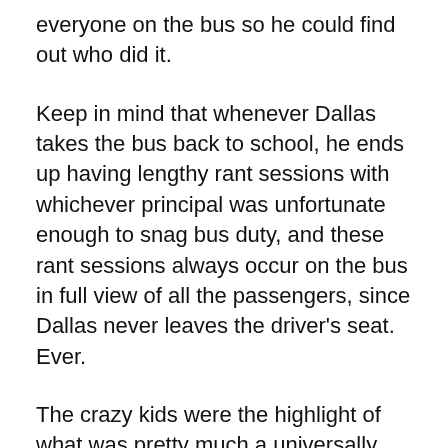everyone on the bus so he could find out who did it.
Keep in mind that whenever Dallas takes the bus back to school, he ends up having lengthy rant sessions with whichever principal was unfortunate enough to snag bus duty, and these rant sessions always occur on the bus in full view of all the passengers, since Dallas never leaves the driver's seat. Ever.
The crazy kids were the highlight of what was pretty much a universally sucky bus-riding career. As far as I can tell, Dallas never liked anybody who rode his bus, and took pains to make sure every single kid got in trouble at least once. I got in trouble for listening to my Discman once, which was not in any way against the rules. I also got in